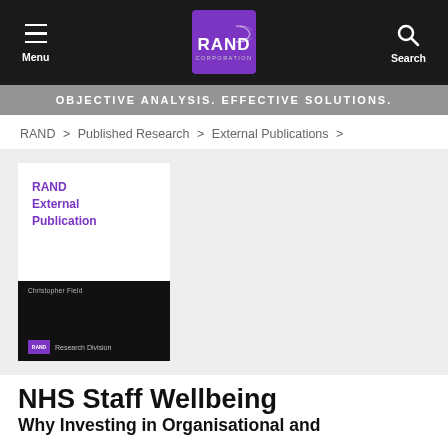Menu | RAND Corporation | Search
OBJECTIVE ANALYSIS. EFFECTIVE SOLUTIONS.
RAND > Published Research > External Publications >
[Figure (illustration): RAND External Publication book cover — top half white with purple text 'RAND External Publication', bottom half black with author name 'Christopher Field' and RAND Research Division logo]
NHS Staff Wellbeing
Why Investing in Organisational and